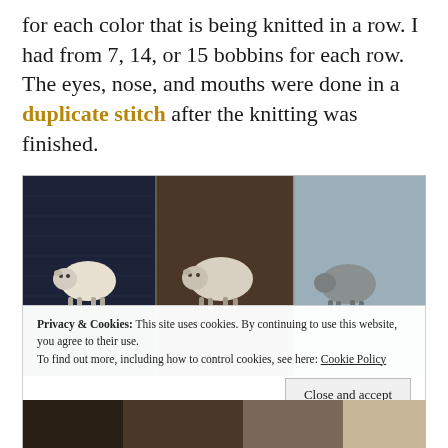for each color that is being knitted in a row. I had from 7, 14, or 15 bobbins for each row. The eyes, nose, and mouths were done in a duplicate stitch after the knitting was finished.
[Figure (photo): Close-up photograph of knitted fabric showing three sheep motifs in different colored sections: dark navy/black on left, medium brown in center, and light blue-gray on right. Each section features a cream-colored sheep silhouette knitted into the fabric.]
Privacy & Cookies: This site uses cookies. By continuing to use this website, you agree to their use.
To find out more, including how to control cookies, see here: Cookie Policy
Close and accept